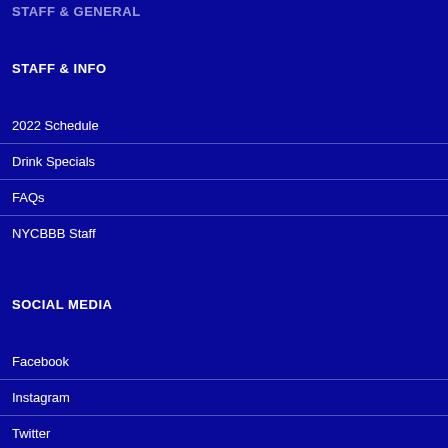STAFF & GENERAL
STAFF & INFO
2022 Schedule
Drink Specials
FAQs
NYCBBB Staff
SOCIAL MEDIA
Facebook
Instagram
Twitter